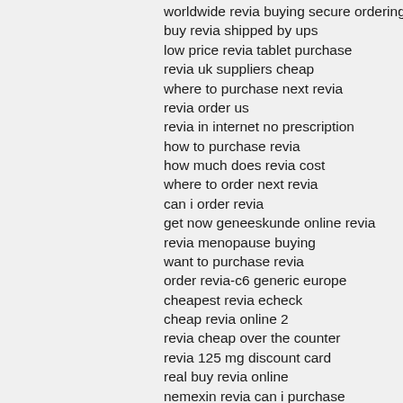worldwide revia buying secure ordering
buy revia shipped by ups
low price revia tablet purchase
revia uk suppliers cheap
where to purchase next revia
revia order us
revia in internet no prescription
how to purchase revia
how much does revia cost
where to order next revia
can i order revia
get now geneeskunde online revia
revia menopause buying
want to purchase revia
order revia-c6 generic europe
cheapest revia echeck
cheap revia online 2
revia cheap over the counter
revia 125 mg discount card
real buy revia online
nemexin revia can i purchase
cod revia prescript
find online revia cod order
revia mail order at huntsville
purchase revia springfield